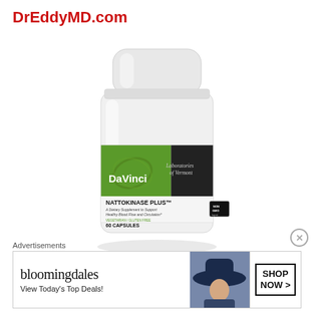DrEddyMD.com
[Figure (photo): DaVinci Laboratories of Vermont Nattokinase Plus dietary supplement bottle, 60 capsules, white bottle with green and black label, non-GMO, vegetarian/gluten free]
Advertisements
[Figure (screenshot): Bloomingdale's advertisement banner: 'bloomingdales View Today's Top Deals!' with a woman in a large hat and 'SHOP NOW >' button]